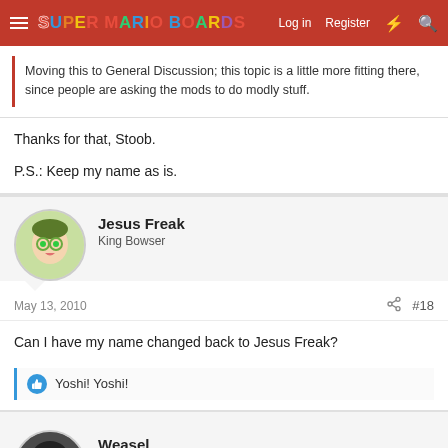Super Mario Boards — Log in Register
Moving this to General Discussion; this topic is a little more fitting there, since people are asking the mods to do modly stuff.
Thanks for that, Stoob.

P.S.: Keep my name as is.
Jesus Freak
King Bowser
May 13, 2010
#18
Can I have my name changed back to Jesus Freak?
Yoshi! Yoshi!
Weasel
Darklur Kong